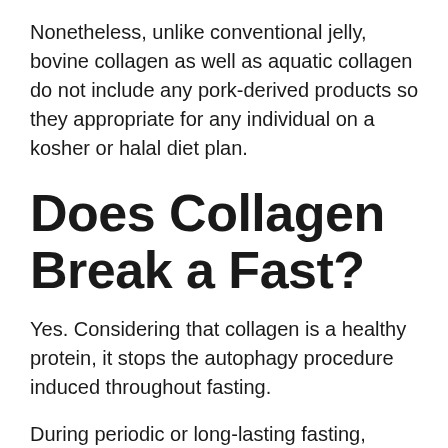Nonetheless, unlike conventional jelly, bovine collagen as well as aquatic collagen do not include any pork-derived products so they appropriate for any individual on a kosher or halal diet plan.
Does Collagen Break a Fast?
Yes. Considering that collagen is a healthy protein, it stops the autophagy procedure induced throughout fasting.
During periodic or long-lasting fasting, autophagy happens to get rid of the cells of built-up toxic substances. Collagen or any other sort of protein is a guaranteed no while